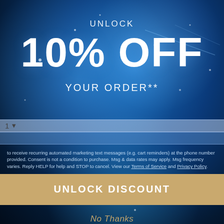UNLOCK
10% OFF
YOUR ORDER**
1 ▾
to receive recurring automated marketing text messages (e.g. cart reminders) at the phone number provided. Consent is not a condition to purchase. Msg & data rates may apply. Msg frequency varies. Reply HELP for help and STOP to cancel. View our Terms of Service and Privacy Policy.
UNLOCK DISCOUNT
No Thanks